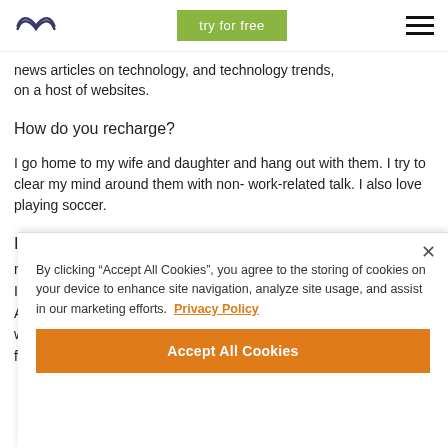try for free
news articles on technology, and technology trends, on a host of websites.
How do you recharge?
I go home to my wife and daughter and hang out with them. I try to clear my mind around them with non-work-related talk. I also love playing soccer.
Is there anything else you'd like to add that
By clicking “Accept All Cookies”, you agree to the storing of cookies on your device to enhance site navigation, analyze site usage, and assist in our marketing efforts. Privacy Policy
Accept All Cookies